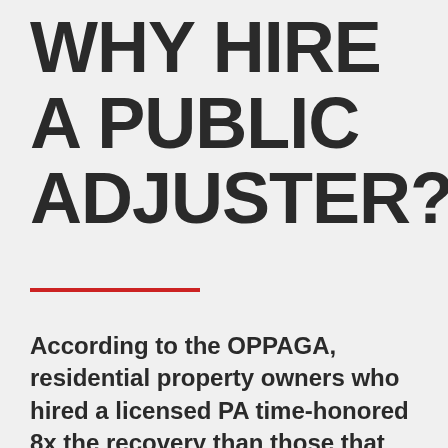WHY HIRE A PUBLIC ADJUSTER?
According to the OPPAGA, residential property owners who hired a licensed PA time-honored 8x the recovery than those that